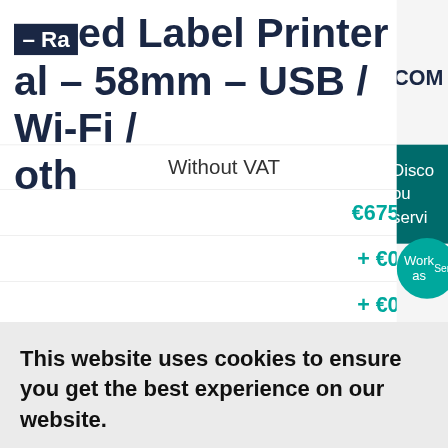– Rated Label Printer – al – 58mm – USB / Wi-Fi / oth
| Without VAT |
| --- |
| €675,49 |
| + €0,12 |
| + €0,08 |
| €675,69 |
This website uses cookies to ensure you get the best experience on our website.
By clicking anywhere on our website you will accept our cookie policy.